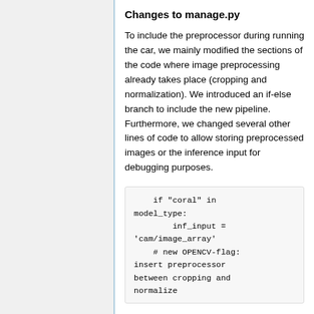Changes to manage.py
To include the preprocessor during running the car, we mainly modified the sections of the code where image preprocessing already takes place (cropping and normalization). We introduced an if-else branch to include the new pipeline. Furthermore, we changed several other lines of code to allow storing preprocessed images or the inference input for debugging purposes.
if "coral" in model_type:
        inf_input = 'cam/image_array'
    # new OPENCV-flag: insert preprocessor between cropping and normalize